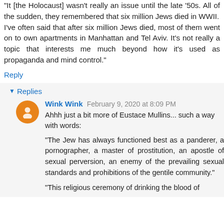"It [the Holocaust] wasn't really an issue until the late '50s. All of the sudden, they remembered that six million Jews died in WWII.
I've often said that after six million Jews died, most of them went on to own apartments in Manhattan and Tel Aviv. It's not really a topic that interests me much beyond how it's used as propaganda and mind control."
Reply
▾ Replies
Wink Wink  February 9, 2020 at 8:09 PM
Ahhh just a bit more of Eustace Mullins... such a way with words:
"The Jew has always functioned best as a panderer, a pornographer, a master of prostitution, an apostle of sexual perversion, an enemy of the prevailing sexual standards and prohibitions of the gentile community."
"This religious ceremony of drinking the blood of